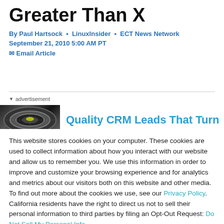Greater Than X
By Paul Hartsock • LinuxInsider • ECT News Network
September 21, 2010 5:00 AM PT
✉ Email Article
advertisement
[Figure (other): Partial advertisement banner showing a circular product image on the left and the text 'Quality CRM Leads That Turn' in blue on the right]
This website stores cookies on your computer. These cookies are used to collect information about how you interact with our website and allow us to remember you. We use this information in order to improve and customize your browsing experience and for analytics and metrics about our visitors both on this website and other media. To find out more about the cookies we use, see our Privacy Policy. California residents have the right to direct us not to sell their personal information to third parties by filing an Opt-Out Request: Do Not Sell My Personal Info.
Accept